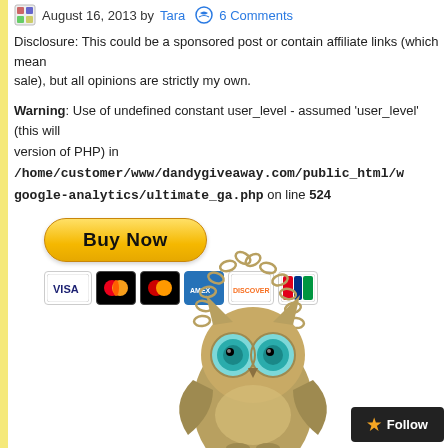August 16, 2013 by Tara  6 Comments
Disclosure: This could be a sponsored post or contain affiliate links (which mean...), but all opinions are strictly my own.
Warning: Use of undefined constant user_level - assumed 'user_level' (this will throw an Error in a future version of PHP) in /home/customer/www/dandygiveaway.com/public_html/w...google-analytics/ultimate_ga.php on line 524
[Figure (other): PayPal Buy Now button with credit card logos (Visa, Mastercard, Amex, Discover, UnionPay)]
[Figure (photo): Owl necklace with bronze/gold chain and owl pendant with blue gemstone eyes]